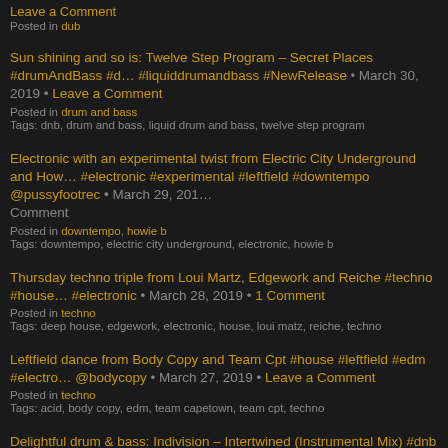Leave a Comment
Posted in dub
Sun shining and so is: Twelve Step Program – Secret Places #drumAndBass #d… #liquiddrumandbass #NewRelease • March 30, 2019 • Leave a Comment
Posted in drum and bass
Tags: dnb, drum and bass, liquid drum and bass, twelve step program
Electronic with an experimental twist from Electric City Underground and How… #electronic #experimental #leftfield #downtempo @pussyfootrec • March 29, 201… Comment
Posted in downtempo, howie b
Tags: downtempo, electric city underground, electronic, howie b
Thursday techno triple from Loui Martz, Edgework and Reiche #techno #house… #electronic • March 28, 2019 • 1 Comment
Posted in techno
Tags: deep house, edgework, electronic, house, loui matz, reiche, techno
Leftfield dance from Body Copy and Team Cpt #house #leftfield #edm #electro… @bodycopy • March 27, 2019 • Leave a Comment
Posted in techno
Tags: acid, body copy, edm, team capetown, team cpt, techno
Delightful drum & bass: Indivision – Intertwined (Instrumental Mix) #dnb #dru… #liquiddnb #electronic #newmusic • March 26, 2019 • Leave a Comment
Posted in drum and bass